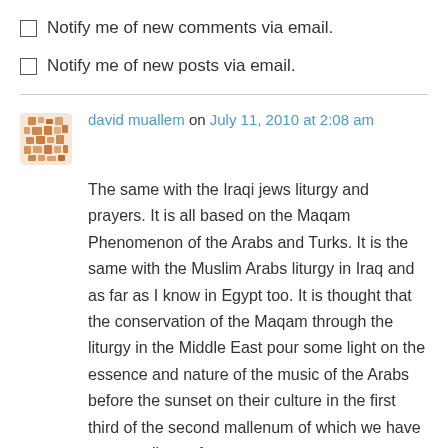Notify me of new comments via email.
Notify me of new posts via email.
david muallem on July 11, 2010 at 2:08 am
The same with the Iraqi jews liturgy and prayers. It is all based on the Maqam Phenomenon of the Arabs and Turks. It is the same with the Muslim Arabs liturgy in Iraq and as far as I know in Egypt too. It is thought that the conservation of the Maqam through the liturgy in the Middle East pour some light on the essence and nature of the music of the Arabs before the sunset on their culture in the first third of the second mallenum of which we have no recordings of-course.